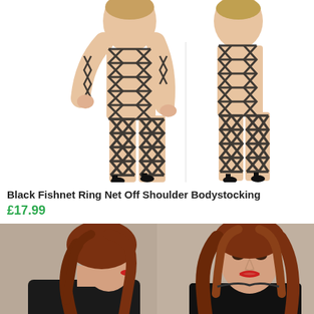[Figure (photo): Two women wearing black fishnet ring net bodystockings shown from front and back on white background]
Black Fishnet Ring Net Off Shoulder Bodystocking
£17.99
[Figure (photo): Two women with auburn hair, one in profile and one facing forward, wearing dark clothing]